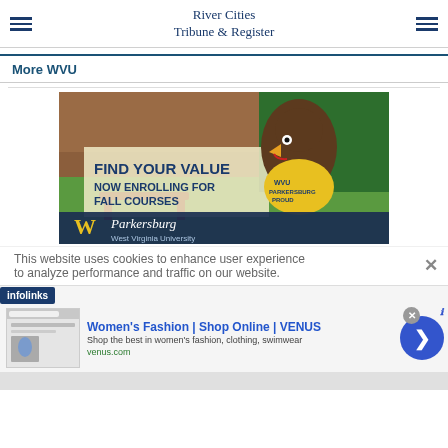River Cities Tribune & Register
More WVU
[Figure (photo): WVU Parkersburg advertisement featuring mascot in yellow WVU Proud shirt with text 'Find Your Value Now Enrolling for Fall Courses' and WVU Parkersburg West Virginia University logo at bottom]
This website uses cookies to enhance user experience to analyze performance and traffic on our website.
[Figure (logo): infolinks logo in blue banner]
[Figure (screenshot): Advertisement: Women's Fashion | Shop Online | VENUS - Shop the best in women's fashion, clothing, swimwear - venus.com]